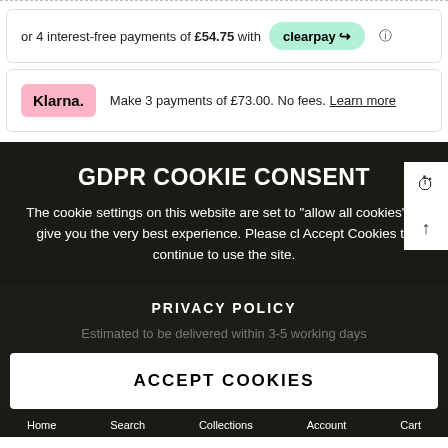or 4 interest-free payments of £54.75 with clearpay
Make 3 payments of £73.00. No fees. Learn more
GDPR COOKIE CONSENT
The cookie settings on this website are set to "allow all cookies" to give you the very best experience. Please click Accept Cookies to continue to use the site.
PRIVACY POLICY
Estimated to be delivered within 3-5 working days
ACCEPT COOKIES
Home   Search   Collections   Account   Cart